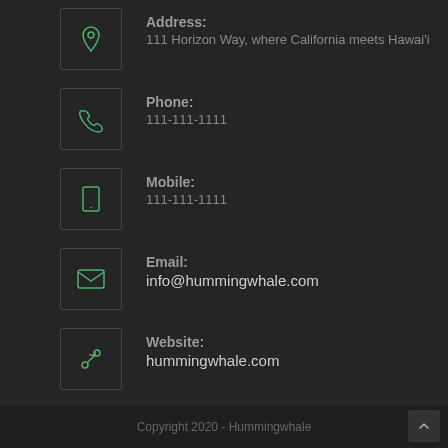Address: 111 Horizon Way, where California meets Hawai'i
Phone: 111-111-1111
Mobile: 111-111-1111
Email: info@hummingwhale.com
Website: hummingwhale.com
Instagram
Copyright 2020 - Hummingwhale